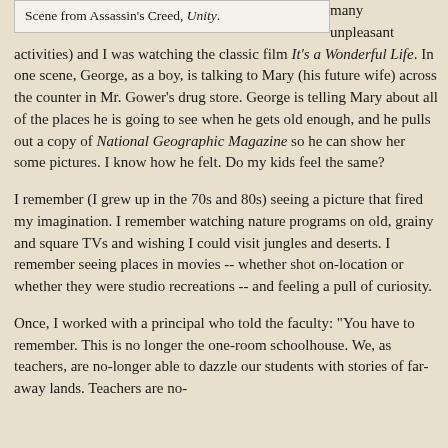Scene from Assassin's Creed, Unity.
many unpleasant activities) and I was watching the classic film It's a Wonderful Life. In one scene, George, as a boy, is talking to Mary (his future wife) across the counter in Mr. Gower's drug store. George is telling Mary about all of the places he is going to see when he gets old enough, and he pulls out a copy of National Geographic Magazine so he can show her some pictures. I know how he felt. Do my kids feel the same?
I remember (I grew up in the 70s and 80s) seeing a picture that fired my imagination. I remember watching nature programs on old, grainy and square TVs and wishing I could visit jungles and deserts. I remember seeing places in movies -- whether shot on-location or whether they were studio recreations -- and feeling a pull of curiosity.
Once, I worked with a principal who told the faculty: "You have to remember. This is no longer the one-room schoolhouse. We, as teachers, are no-longer able to dazzle our students with stories of far-away lands. Teachers are no-